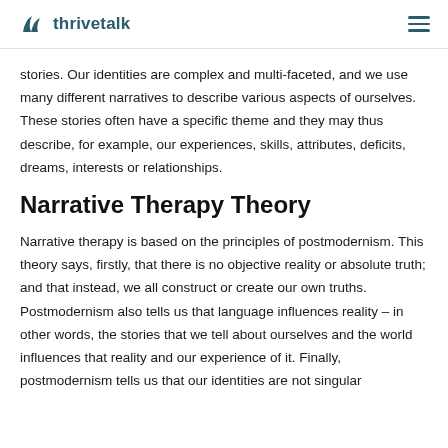thrivetalk
stories. Our identities are complex and multi-faceted, and we use many different narratives to describe various aspects of ourselves. These stories often have a specific theme and they may thus describe, for example, our experiences, skills, attributes, deficits, dreams, interests or relationships.
Narrative Therapy Theory
Narrative therapy is based on the principles of postmodernism. This theory says, firstly, that there is no objective reality or absolute truth; and that instead, we all construct or create our own truths. Postmodernism also tells us that language influences reality – in other words, the stories that we tell about ourselves and the world influences that reality and our experience of it. Finally, postmodernism tells us that our identities are not singular